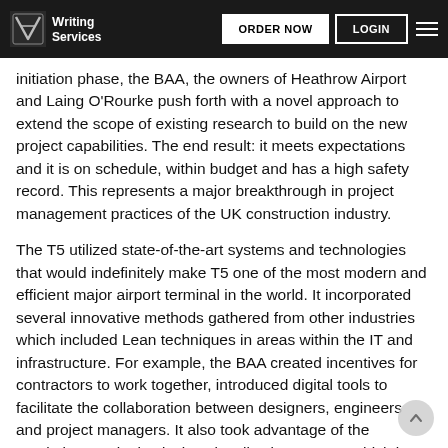Writing Services | ORDER NOW | LOGIN
initiation phase, the BAA, the owners of Heathrow Airport and Laing O'Rourke push forth with a novel approach to extend the scope of existing research to build on the new project capabilities. The end result: it meets expectations and it is on schedule, within budget and has a high safety record. This represents a major breakthrough in project management practices of the UK construction industry.
The T5 utilized state-of-the-art systems and technologies that would indefinitely make T5 one of the most modern and efficient major airport terminal in the world. It incorporated several innovative methods gathered from other industries which included Lean techniques in areas within the IT and infrastructure. For example, the BAA created incentives for contractors to work together, introduced digital tools to facilitate the collaboration between designers, engineers and project managers. It also took advantage of the revolutionary single 'design visualization system' which in effect “replaced numerous proprietary in-house IT systems with standard software linking into the logistics systems”. Today, the T5 is “running beyond expected levels of efficiency in all areas of customer service, and